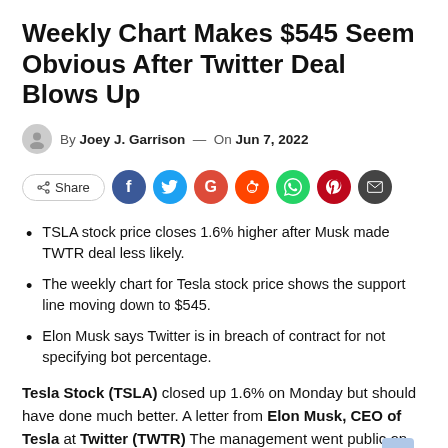Weekly Chart Makes $545 Seem Obvious After Twitter Deal Blows Up
By Joey J. Garrison — On Jun 7, 2022
[Figure (other): Social share buttons row: Share button, Facebook, Twitter, Google+, Reddit, WhatsApp, Pinterest, Email]
TSLA stock price closes 1.6% higher after Musk made TWTR deal less likely.
The weekly chart for Tesla stock price shows the support line moving down to $545.
Elon Musk says Twitter is in breach of contract for not specifying bot percentage.
Tesla Stock (TSLA) closed up 1.6% on Monday but should have done much better. A letter from Elon Musk, CEO of Tesla at Twitter (TWTR) The management went public on Monday in which he criticized them for not providing him with data on the number of bots on the social media platform, and today in